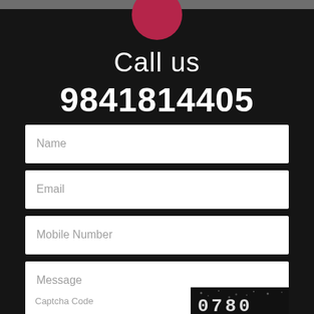[Figure (illustration): Dark background webpage screenshot with red circle icon at top]
Call us
9841814405
Name
Email
Mobile Number
Message
Captcha Code